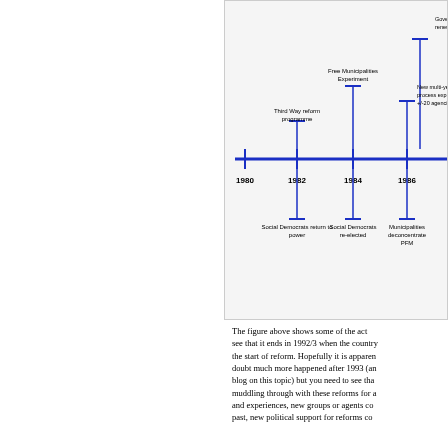[Figure (infographic): A horizontal timeline showing Danish public sector reform events from 1980 to 1986+. Above the timeline: 'Third Way reform programme' (1982), 'Free Municipalities Experiment' (1984), 'Government programme to renew public sector' (1986), 'New multi-year budget process experiment +/-20 agencies' (1986). Below the timeline: 'Social Democrats return to power' (1982), 'Social Democrats re-elected' (1984), 'Municipalities deconcentrate PFM' (1986).]
The figure above shows some of the act... see that it ends in 1992/3 when the country... the start of reform. Hopefully it is apparen... doubt much more happened after 1993 (an... blog on this topic) but you need to see tha... muddling through with these reforms for a... and experiences, new groups or agents co... past, new political support for reforms co...